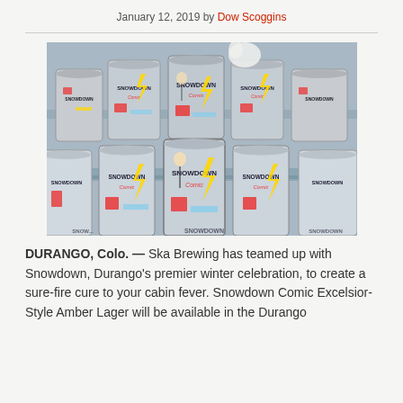January 12, 2019 by Dow Scoggins
[Figure (photo): Multiple stacks of Snowdown Comic Excelsior-Style Amber Lager beer cans by Ska Brewing, featuring colorful comic-book inspired artwork with 'SNOWDOWN' text on the cans.]
DURANGO, Colo. — Ska Brewing has teamed up with Snowdown, Durango's premier winter celebration, to create a sure-fire cure to your cabin fever. Snowdown Comic Excelsior-Style Amber Lager will be available in the Durango